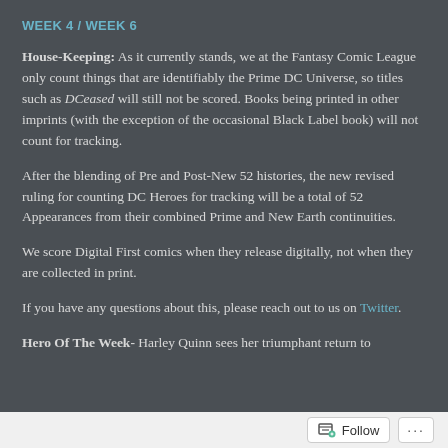WEEK 4 / WEEK 6
House-Keeping: As it currently stands, we at the Fantasy Comic League only count things that are identifiably the Prime DC Universe, so titles such as DCeased will still not be scored. Books being printed in other imprints (with the exception of the occasional Black Label book) will not count for tracking.
After the blending of Pre and Post-New 52 histories, the new revised ruling for counting DC Heroes for tracking will be a total of 52 Appearances from their combined Prime and New Earth continuities.
We score Digital First comics when they release digitally, not when they are collected in print.
If you have any questions about this, please reach out to us on Twitter.
Hero Of The Week- Harley Quinn sees her triumphant return to
Follow ...